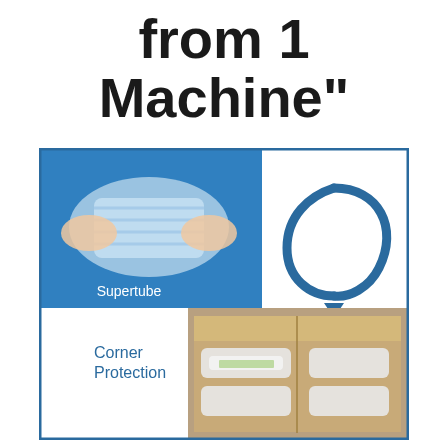from 1 Machine"
[Figure (infographic): Infographic showing two packaging products from one machine: top-left is a photo of Supertube (clear air-tube cushioning held by hands on blue background), top-right has a blue recycling-style arrow graphic, bottom-left has text 'Corner Protection' in blue, bottom-right is a photo of corner protection air cushions in a cardboard box. The whole composition is framed with a blue border.]